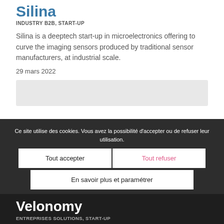Silina
INDUSTRY B2B, START-UP
Silina is a deeptech start-up in microelectronics offering to curve the imaging sensors produced by traditional sensor manufacturers, at industrial scale.
29 mars 2022
[Figure (other): Grey placeholder image box]
Ce site utilise des cookies. Vous avez la possibilité d'accepter ou de refuser leur utilisation.
Tout accepter
Tout refuser
En savoir plus et paramétrer
Velonomy
ENTREPRISES SOLUTIONS, START-UP